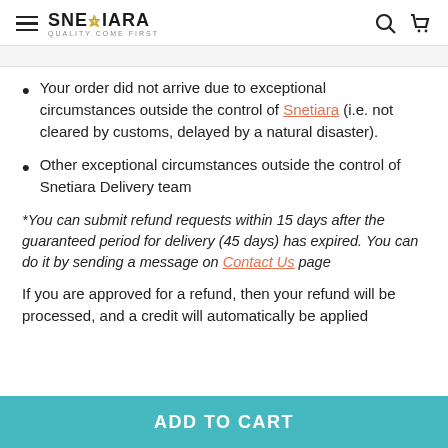SNETIARA QUALITY COME FIRST
Your order did not arrive due to exceptional circumstances outside the control of Snetiara (i.e. not cleared by customs, delayed by a natural disaster).
Other exceptional circumstances outside the control of Snetiara Delivery team
*You can submit refund requests within 15 days after the guaranteed period for delivery (45 days) has expired. You can do it by sending a message on Contact Us page
If you are approved for a refund, then your refund will be processed, and a credit will automatically be applied